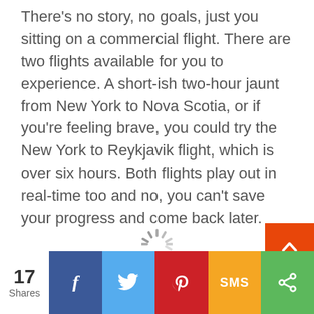There's no story, no goals, just you sitting on a commercial flight. There are two flights available for you to experience. A short-ish two-hour jaunt from New York to Nova Scotia, or if you're feeling brave, you could try the New York to Reykjavik flight, which is over six hours. Both flights play out in real-time too and no, you can't save your progress and come back later.
[Figure (other): Loading spinner (animated circular spinner indicator)]
[Figure (other): Scroll-to-top button (orange square with upward chevron arrow)]
17 Shares | Facebook share | Twitter share | Pinterest share | SMS share | Share